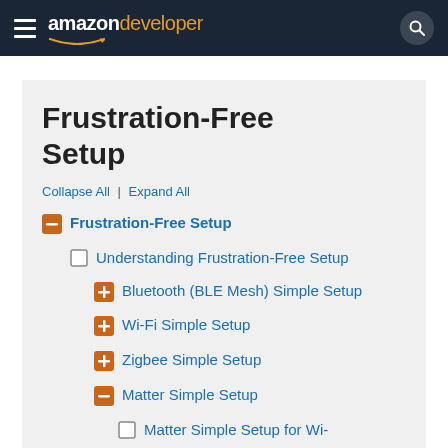amazon developer — navigation header
Frustration-Free Setup
Collapse All | Expand All
Frustration-Free Setup
Understanding Frustration-Free Setup
Bluetooth (BLE Mesh) Simple Setup
Wi-Fi Simple Setup
Zigbee Simple Setup
Matter Simple Setup
Matter Simple Setup for Wi-